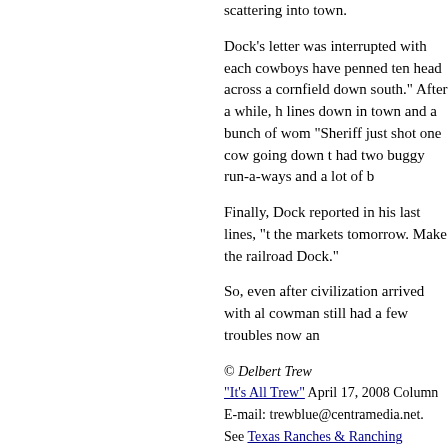scattering into town.
Dock's letter was interrupted with each cowboys have penned ten head across a cornfield down south." After a while, h lines down in town and a bunch of wom "Sheriff just shot one cow going down t had two buggy run-a-ways and a lot of b
Finally, Dock reported in his last lines, " the markets tomorrow. Make the railroa Dock."
So, even after civilization arrived with al cowman still had a few troubles now an
© Delbert Trew
"It's All Trew" April 17, 2008 Column
E-mail: trewblue@centramedia.net.
See Texas Ranches & Ranching
More Related stories:
Texas | Online Magazine | Texas Towns | Features |